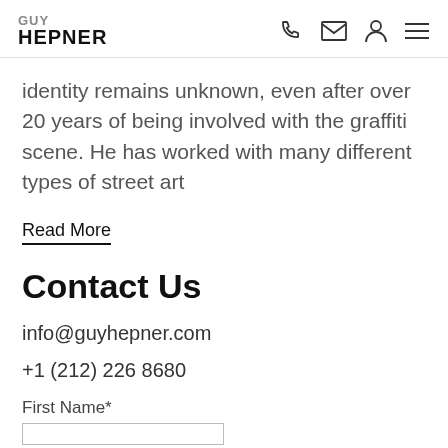GUY HEPNER
identity remains unknown, even after over 20 years of being involved with the graffiti scene. He has worked with many different types of street art
Read More
Contact Us
info@guyhepner.com
+1 (212) 226 8680
First Name*